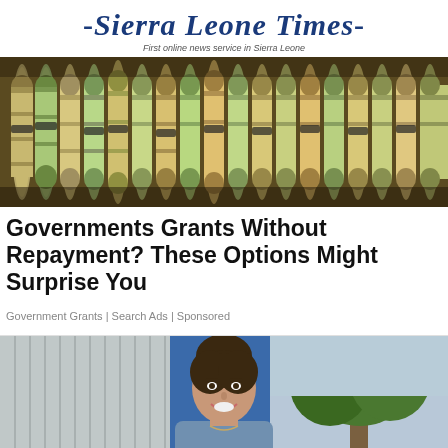-Sierra Leone Times- First online news service in Sierra Leone
[Figure (photo): Rows of rolled-up US dollar bills standing upright on a dark surface]
Governments Grants Without Repayment? These Options Might Surprise You
Government Grants | Search Ads | Sponsored
[Figure (photo): A smiling young woman with hair in a bun, wearing a light blue top, standing outdoors near trees and a building]